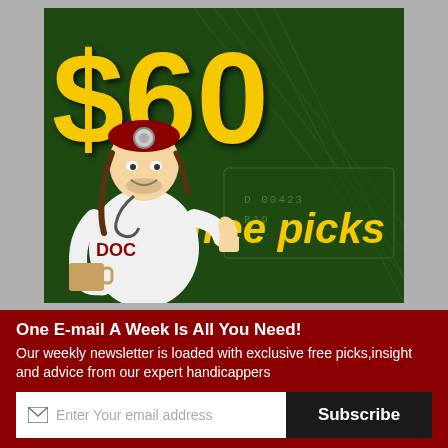[Figure (illustration): Advertisement banner showing '$60 free picks' in large yellow text on dark green background with a cartoon football player/doctor character giving thumbs up, with money/dollar bill texture in background]
One E-mail A Week Is All You Need!
Our weekly newsletter is loaded with exclusive free picks,insight and advice from our expert handicappers
Enter Your email address | Subscribe
SIGN UP   LOGIN   CONTACT   TOP